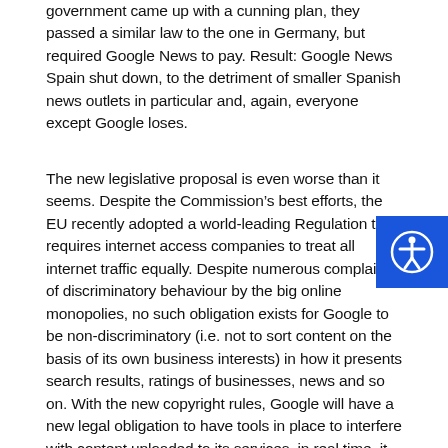government came up with a cunning plan, they passed a similar law to the one in Germany, but required Google News to pay. Result: Google News Spain shut down, to the detriment of smaller Spanish news outlets in particular and, again, everyone except Google loses.
The new legislative proposal is even worse than it seems. Despite the Commission's best efforts, the EU recently adopted a world-leading Regulation that requires internet access companies to treat all internet traffic equally. Despite numerous complaints of discriminatory behaviour by the big online monopolies, no such obligation exists for Google to be non-discriminatory (i.e. not to sort content on the basis of its own business interests) in how it presents search results, ratings of businesses, news and so on. With the new copyright rules, Google will have a new legal obligation to have tools in place to interfere with content uploaded to its services, in real time, it will have a new legal obligation to agree (or not) to include news outlets in Google News. It is more than a little Faustian to believe that you do a deal to ask Google to be non-neutral, whenever this is to achieve whatever the European politicians want it to achieve and hope that Google will “do no evil” and not take advantage of its monopoly and legally mandated content regulation for its own benefit, to the detriment of European business, European citizens and the European